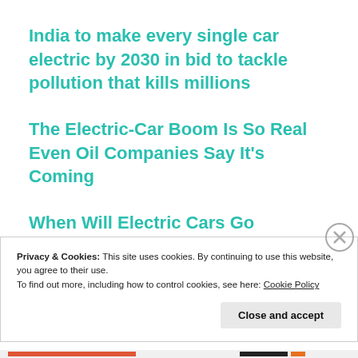India to make every single car electric by 2030 in bid to tackle pollution that kills millions
The Electric-Car Boom Is So Real Even Oil Companies Say It’s Coming
When Will Electric Cars Go Mainstream? It May Be Sooner Than You Think
Privacy & Cookies: This site uses cookies. By continuing to use this website, you agree to their use.
To find out more, including how to control cookies, see here: Cookie Policy
Close and accept